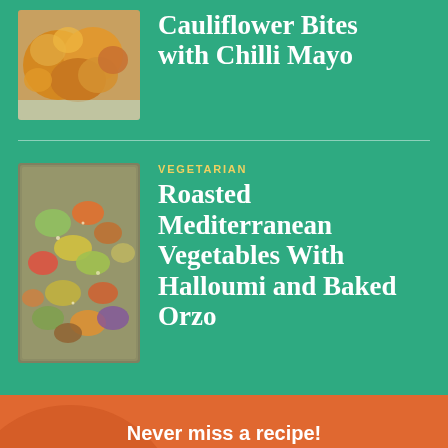[Figure (photo): Photo of golden roasted cauliflower bites on a plate]
Cauliflower Bites with Chilli Mayo
[Figure (photo): Photo of roasted Mediterranean vegetables in a baking tray]
VEGETARIAN
Roasted Mediterranean Vegetables With Halloumi and Baked Orzo
Never miss a recipe!
Sign up to my weekly newsletter to get all of Beat the Budget's recent recipes, so you never miss out!